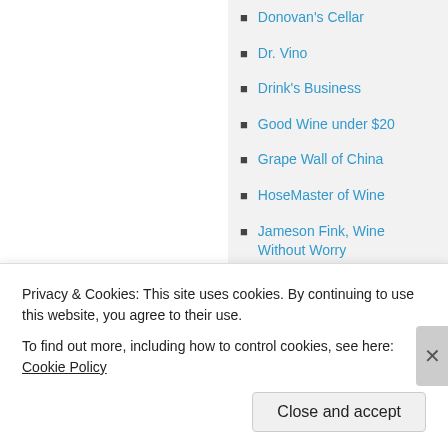Donovan's Cellar
Dr. Vino
Drink's Business
Good Wine under $20
Grape Wall of China
HoseMaster of Wine
Jameson Fink, Wine Without Worry
Jancis Robinson
Laura Uncorked
Privacy & Cookies: This site uses cookies. By continuing to use this website, you agree to their use.
To find out more, including how to control cookies, see here: Cookie Policy
Close and accept